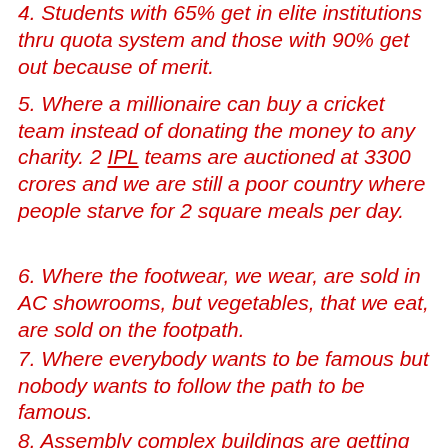4. Students with 65% get in elite institutions thru quota system and those with 90% get out because of merit.
5. Where a millionaire can buy a cricket team instead of donating the money to any charity. 2 IPL teams are auctioned at 3300 crores and we are still a poor country where people starve for 2 square meals per day.
6. Where the footwear, we wear, are sold in AC showrooms, but vegetables, that we eat, are sold on the footpath.
7. Where everybody wants to be famous but nobody wants to follow the path to be famous.
8. Assembly complex buildings are getting ready within one year while public transport bridges alone take several years to be completed.